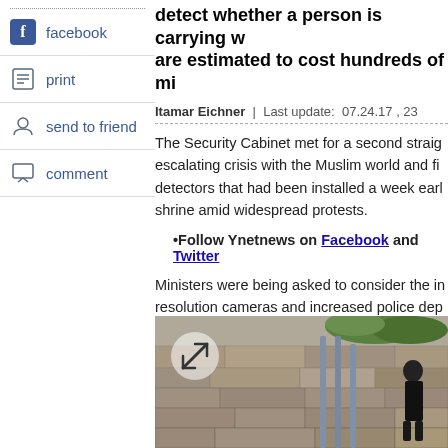detect whether a person is carrying w... are estimated to cost hundreds of mi...
Itamar Eichner | Last update: 07.24.17 , 23
The Security Cabinet met for a second straight... escalating crisis with the Muslim world and fin... detectors that had been installed a week earl... shrine amid widespread protests.
Follow Ynetnews on Facebook and Twitter
Ministers were being asked to consider the in... resolution cameras and increased police dep... metal detectors.
The metal detectors were installed to increas... earlier this month after Israeli Arab terrorists... killing two Israeli policemen.
[Figure (photo): Outdoor photo showing metal detector poles near a stone wall with a person visible, expand/zoom button overlay in lower left]